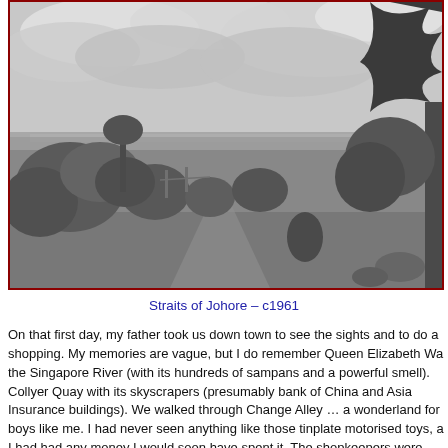[Figure (photo): Black and white photograph of the Straits of Johore circa 1961, showing tropical vegetation including trees and shrubs in the foreground, a body of water in the middle distance, and a cloudy sky above.]
Straits of Johore – c1961
On that first day, my father took us down town to see the sights and to do a shopping. My memories are vague, but I do remember Queen Elizabeth Wa the Singapore River (with its hundreds of sampans and a powerful smell). Collyer Quay with its skyscrapers (presumably bank of China and Asia Insurance buildings). We walked through Change Alley … a wonderland for boys like me. I had never seen anything like those tinplate motorised toys, a I had had any money I would soon have spent it. The shopkeepers were